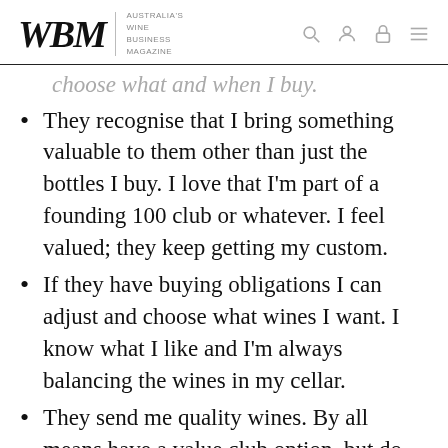WBM — Australia's Wine Business Magazine
choose what and when I buy.
They recognise that I bring something valuable to them other than just the bottles I buy. I love that I'm part of a founding 100 club or whatever. I feel valued; they keep getting my custom.
If they have buying obligations I can adjust and choose what wines I want. I know what I like and I'm always balancing the wines in my cellar.
They send me quality wines. By all means have a value club option, but do not dump the stuff you can't sell or poor quality wines on me. I'm outta